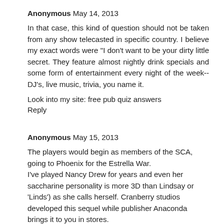Anonymous  May 14, 2013
In that case, this kind of question should not be taken from any show telecasted in specific country. I believe my exact words were "I don't want to be your dirty little secret. They feature almost nightly drink specials and some form of entertainment every night of the week--DJ's, live music, trivia, you name it.
Look into my site: free pub quiz answers
Reply
Anonymous  May 15, 2013
The players would begin as members of the SCA, going to Phoenix for the Estrella War.
I've played Nancy Drew for years and even her saccharine personality is more 3D than Lindsay or 'Linds') as she calls herself. Cranberry studios developed this sequel while publisher Anaconda brings it to you in stores.